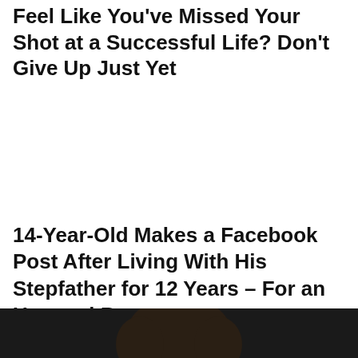Feel Like You've Missed Your Shot at a Successful Life? Don't Give Up Just Yet
14-Year-Old Makes a Facebook Post After Living With His Stepfather for 12 Years – For an Unusual Reason
[Figure (photo): Bottom strip of a dark image showing the top of a person's head/hair against a dark background]